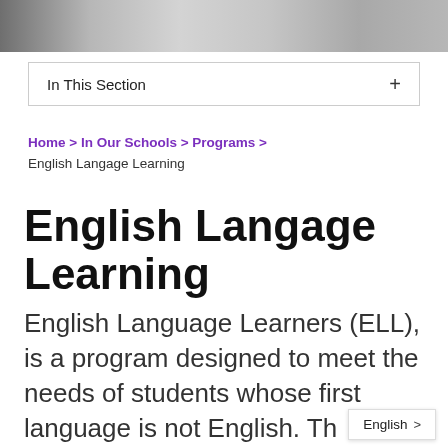[Figure (photo): Top banner image strip showing blurred students or classroom scene in grayscale/color]
In This Section +
Home > In Our Schools > Programs > English Langage Learning
English Langage Learning
English Language Learners (ELL), is a program designed to meet the needs of students whose first language is not English. Th
English >